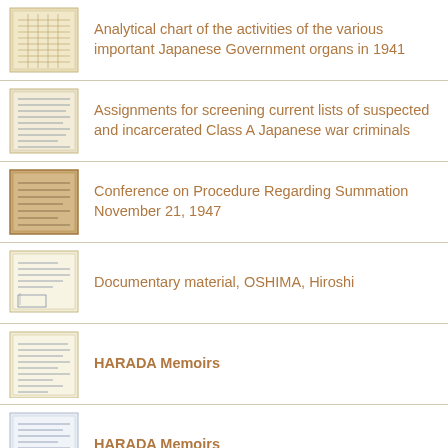Analytical chart of the activities of the various important Japanese Government organs in 1941
Assignments for screening current lists of suspected and incarcerated Class A Japanese war criminals
Conference on Procedure Regarding Summation November 21, 1947
Documentary material, OSHIMA, Hiroshi
HARADA Memoirs
HARADA Memoirs